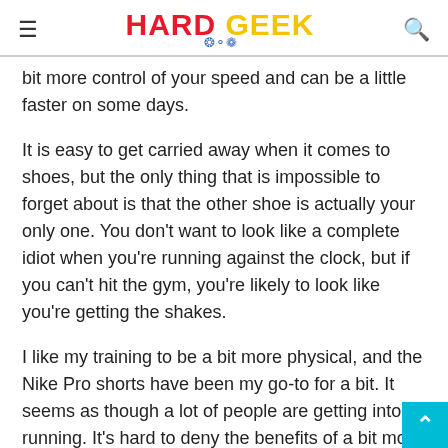HARD GEEK
bit more control of your speed and can be a little faster on some days.
It is easy to get carried away when it comes to shoes, but the only thing that is impossible to forget about is that the other shoe is actually your only one. You don't want to look like a complete idiot when you're running against the clock, but if you can't hit the gym, you're likely to look like you're getting the shakes.
I like my training to be a bit more physical, and the Nike Pro shorts have been my go-to for a bit. It seems as though a lot of people are getting into running. It's hard to deny the benefits of a bit more speed when running, but the Nike Pro shorts are still pretty light weight. Plus, you can easily wear them to a